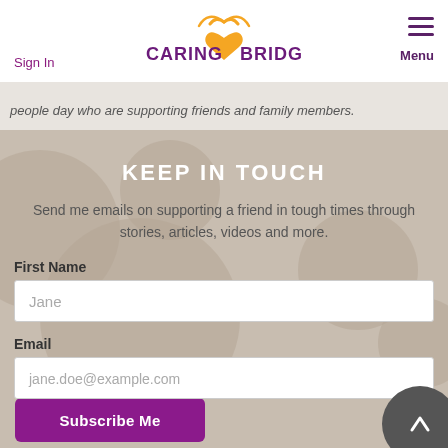CARING BRIDGE
Sign In
Menu
people day who are supporting friends and family members.
KEEP IN TOUCH
Send me emails on supporting a friend in tough times through stories, articles, videos and more.
First Name
Jane
Email
jane.doe@example.com
Subscribe Me